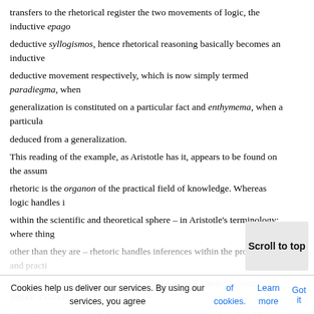transfers to the rhetorical register the two movements of logic, the inductive epago... deductive syllogismos, hence rhetorical reasoning basically becomes an inductive... deductive movement respectively, which is now simply termed paradiegma, when... generalization is constituted on a particular fact and enthymema, when a particula... deduced from a generalization.
This reading of the example, as Aristotle has it, appears to be found on the assum... rhetoric is the organon of the practical field of knowledge. Whereas logic handles i... within the scientific and theoretical sphere – in Aristotle's terminology: where thing... other than they are – rhetoric handles inferences within the problematic and practi... where things can be other than they are (Aristotle 1994b: 1139a5; 1994a: 1357a1... Aristotle uses two parallel registers of inferences, which each holds a deductive a... inductive movement, it is due to the more fundamental condition that he employs t... fields of knowledge: one theoretical, one practical; one handled by logic and one h... rhetoric. Thus rhetorical reasoning supplements logical reasoning, because the fo... mentioned is adjusted to the practical sphere characterised by contingence and la... regularity as opposed to latter. Aristotle states: "The necessary result then is that t... enthymeme and the example are concerned with things which may, generally spe... other than they are…" (Aristotle 1994a: 1357a13, italic added).

In this comprehension the function of induction and example th... sa... varies is the method, namely the way in which the generalizatio... As...
[Figure (other): Scroll to top button overlay]
Cookies help us deliver our services. By using our services, you agree of cookies. Learn more Got it